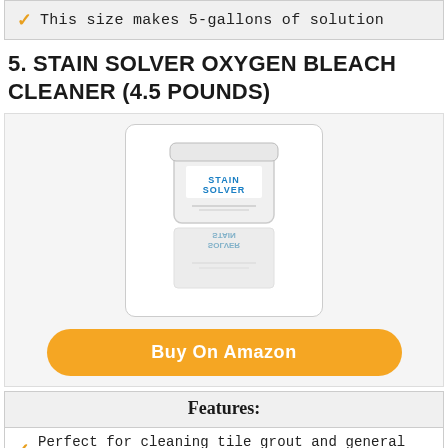✓ This size makes 5-gallons of solution
5. STAIN SOLVER OXYGEN BLEACH CLEANER (4.5 POUNDS)
[Figure (photo): Stain Solver oxygen bleach cleaner product container, white tub with blue STAIN SOLVER logo, shown with its reflection below]
Buy On Amazon
Features:
✓ Perfect for cleaning tile grout and general purpose
✓ Cleans virtually anything that is water washable